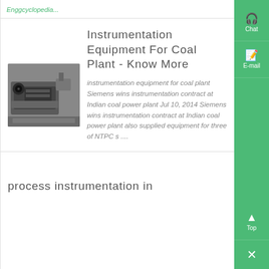Enggcyclopedia...
[Figure (photo): Industrial machinery - jaw crusher or heavy equipment at a coal plant]
Instrumentation Equipment For Coal Plant - Know More
instrumentation equipment for coal plant Siemens wins instrumentation contract at Indian coal power plant Jul 10, 2014 Siemens wins instrumentation contract at Indian coal power plant also supplied equipment for three of NTPC s ....
process instrumentation in